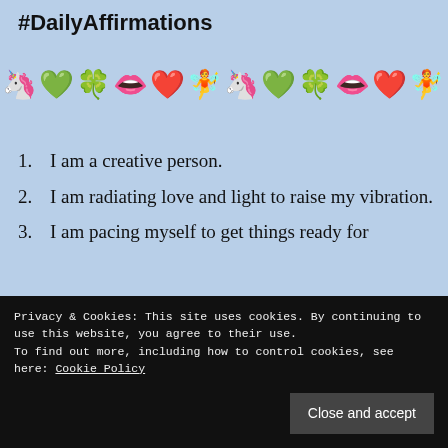#DailyAffirmations
[Figure (illustration): A row of emojis: unicorn, green heart, four-leaf clover, lips, red heart, sparkle/fairy, unicorn, green heart, four-leaf clover, lips, red heart, sparkle/fairy]
1. I am a creative person.
2. I am radiating love and light to raise my vibration.
3. I am pacing myself to get things ready for
4. (partially visible)
5. (partially visible)
Privacy & Cookies: This site uses cookies. By continuing to use this website, you agree to their use. To find out more, including how to control cookies, see here: Cookie Policy